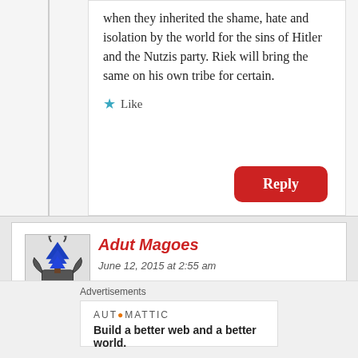when they inherited the shame, hate and isolation by the world for the sins of Hitler and the Nutzis party. Riek will bring the same on his own tribe for certain.
Like
Reply
Adut Magoes
June 12, 2015 at 2:55 am
you right Agumut Dr Riek Machar is not
Advertisements
AUTOMATTIC
Build a better web and a better world.